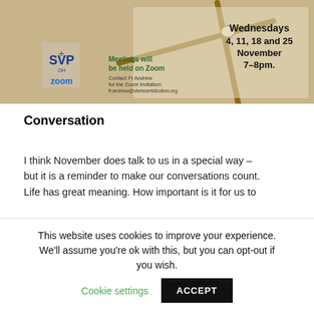[Figure (other): Promotional banner image showing an open Bible with a wooden cross on top. Contains text: 'Wednesdays 4, 11, 18 and 25 November 7-8pm.', 'Meetings will be held on Zoom', 'Contact Fr Andrew for the Zoom invitation: fr.andrew@stvincentsbolton.org', with St Vincent de Paul / SVP logo and Zoom logo.]
Conversation
I think November does talk to us in a special way – but it is a reminder to make our conversations count. Life has great meaning. How important is it for us to
This website uses cookies to improve your experience. We'll assume you're ok with this, but you can opt-out if you wish. Cookie settings ACCEPT